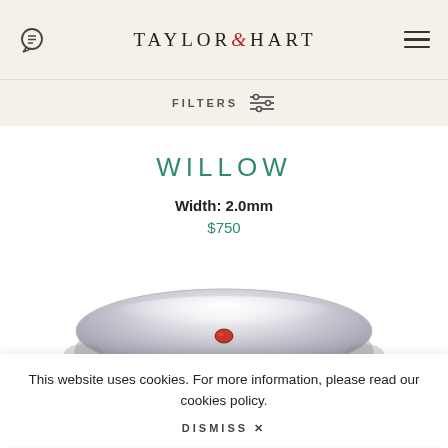TAYLOR & HART
FILTERS
WILLOW
Width: 2.0mm
$750
[Figure (photo): Close-up photo of a silver/platinum Willow wedding ring with a small red gemstone set in the center, partially cropped at bottom of page.]
This website uses cookies. For more information, please read our cookies policy.
DISMISS ×